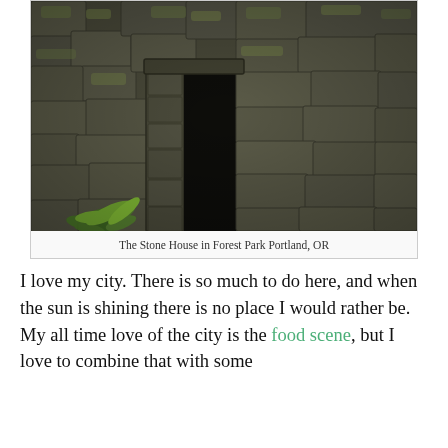[Figure (photo): Photograph of mossy stone wall ruins with a narrow dark doorway opening. Green ferns visible at the base of the wall. The Stone House in Forest Park Portland, OR.]
The Stone House in Forest Park Portland, OR
I love my city. There is so much to do here, and when the sun is shining there is no place I would rather be. My all time love of the city is the food scene, but I love to combine that with some